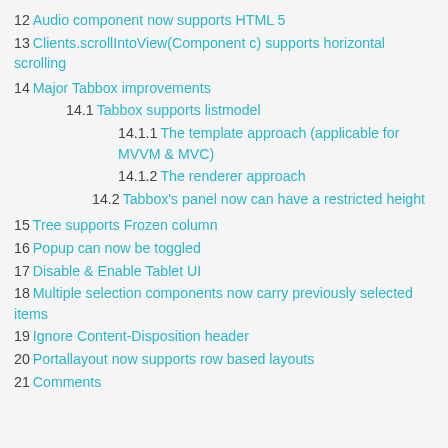12 Audio component now supports HTML 5
13 Clients.scrollIntoView(Component c) supports horizontal scrolling
14 Major Tabbox improvements
14.1 Tabbox supports listmodel
14.1.1 The template approach (applicable for MVVM & MVC)
14.1.2 The renderer approach
14.2 Tabbox's panel now can have a restricted height
15 Tree supports Frozen column
16 Popup can now be toggled
17 Disable & Enable Tablet UI
18 Multiple selection components now carry previously selected items
19 Ignore Content-Disposition header
20 Portallayout now supports row based layouts
21 Comments